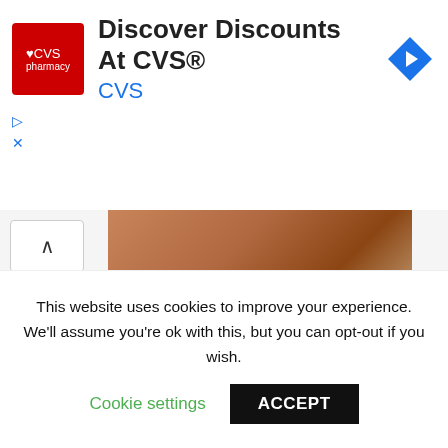[Figure (screenshot): CVS Pharmacy advertisement banner with logo, 'Discover Discounts At CVS®' title, 'CVS' subtitle in blue, and a blue navigation arrow icon]
[Figure (photo): Partial photo showing a food item on a wooden surface, warm brown tones]
NOTES
If so desired, liquid smoke can be a great addition—but be careful how much you add. A little can go a long way.
Tools Needed:
Chopping knife
This website uses cookies to improve your experience. We'll assume you're ok with this, but you can opt-out if you wish.
Cookie settings   ACCEPT